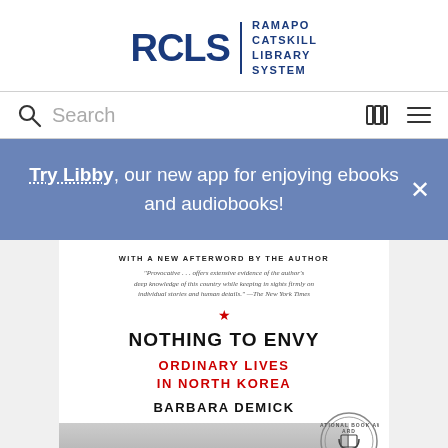[Figure (logo): RCLS Ramapo Catskill Library System logo in blue]
Search
Try Libby, our new app for enjoying ebooks and audiobooks!
[Figure (photo): Book cover of Nothing to Envy: Ordinary Lives in North Korea by Barbara Demick, with National Book Award Finalist seal]